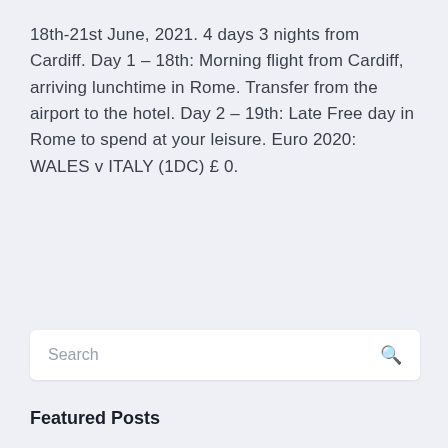18th-21st June, 2021. 4 days 3 nights from Cardiff. Day 1 – 18th: Morning flight from Cardiff, arriving lunchtime in Rome. Transfer from the airport to the hotel. Day 2 – 19th: Late Free day in Rome to spend at your leisure. Euro 2020: WALES v ITALY (1DC) £ 0.
Search
Featured Posts